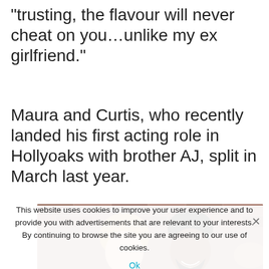“trusting, the flavour will never cheat on you…unlike my ex girlfriend.”
Maura and Curtis, who recently landed his first acting role in Hollyoaks with brother AJ, split in March last year.
[Figure (photo): Photo of a smiling couple (woman with blonde hair and man with dark complexion and beard) in front of a brick wall background.]
This website uses cookies to improve your user experience and to provide you with advertisements that are relevant to your interests. By continuing to browse the site you are agreeing to our use of cookies.
Ok